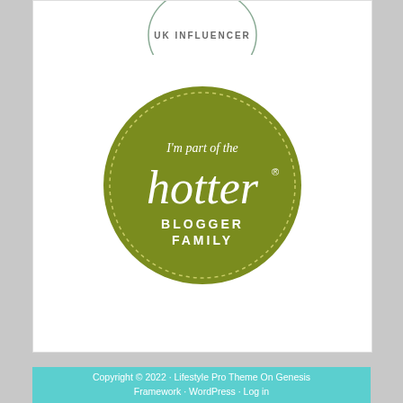[Figure (logo): UK Influencer badge - circular outline badge in sage green with text 'UK INFLUENCER' in the center]
[Figure (logo): Hotter Blogger Family circular badge - olive/dark yellow-green circle with dotted border, text 'I'm part of the hotter® BLOGGER FAMILY' in white]
Copyright © 2022 · Lifestyle Pro Theme On Genesis Framework · WordPress · Log in